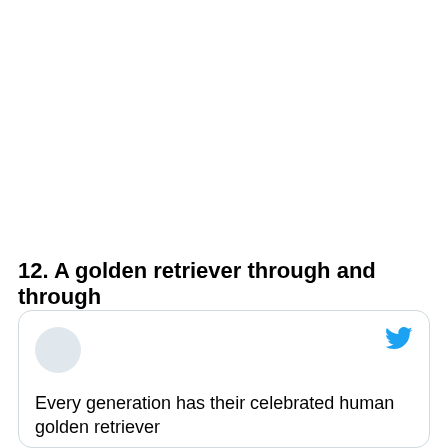12. A golden retriever through and through
[Figure (screenshot): Tweet card with avatar placeholder, Twitter bird logo, tweet text reading 'Every generation has their celebrated human golden retriever', and subtext 'Millenials has Chris Evans']
Every generation has their celebrated human golden retriever
Millenials has Chris Evans